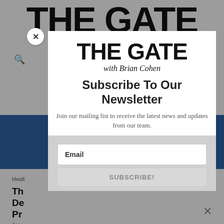[Figure (screenshot): Background website page for 'The Gate with Brian Cohen' partially visible behind a newsletter subscription modal overlay. Blue banner visible in background, partial headline text visible on left edge.]
THE GATE with Brian Cohen
Subscribe To Our Newsletter
Join our mailing list to receive the latest news and updates from our team.
Email
SUBSCRIBE!